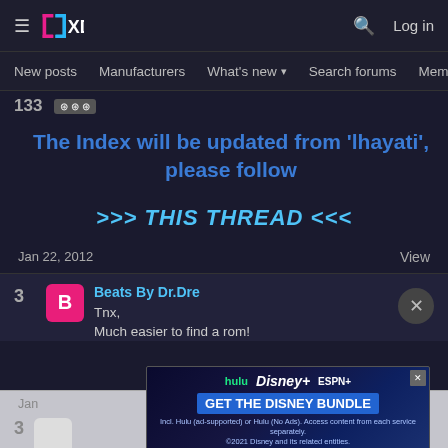XDA Forums navigation bar with logo, search, login, New posts, Manufacturers, What's new, Search forums, Members
The Index will be updated from 'lhayati', please follow
>>> THIS THREAD <<<
Jan 22, 2012
View
3
Beats By Dr.Dre
Tnx,
Much easier to find a rom!
[Figure (screenshot): Disney Bundle advertisement banner showing Hulu, Disney+, ESPN+ logos with GET THE DISNEY BUNDLE CTA]
3